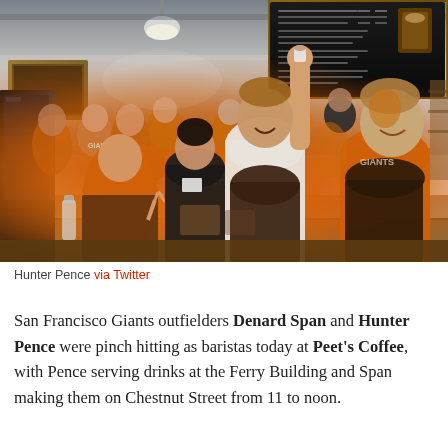[Figure (photo): Group photo inside a Peet's Coffee shop. Many staff members and two SF Giants players, most wearing bright orange Giants jerseys and brown aprons, smiling and celebrating. A tall man in a white shirt with a brown apron raises his hand holding a small cup. A woman on the right also wears an orange Giants shirt and dark apron. Coffee shop menu boards are visible in the upper right background.]
Hunter Pence via Twitter
San Francisco Giants outfielders Denard Span and Hunter Pence were pinch hitting as baristas today at Peet's Coffee, with Pence serving drinks at the Ferry Building and Span making them on Chestnut Street from 11 to noon.